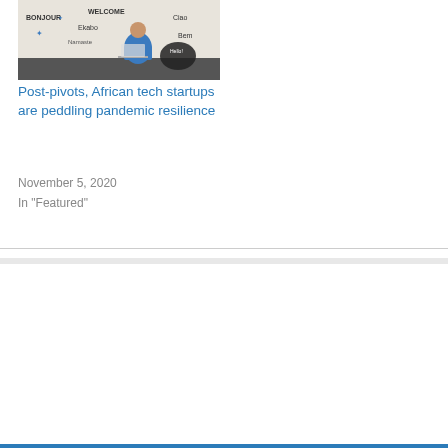[Figure (photo): Woman at a desk in front of a wall with multilingual welcome greetings (Bonjour, Welcome, Hello, Ekabo, Namaste, etc.) written in chalk-style art]
Post-pivots, African tech startups are peddling pandemic resilience
November 5, 2020
In "Featured"
We use cookies on our website to give you the most relevant experience by remembering your preferences and repeat visits. By clicking “Accept All”, you consent to the use of ALL the cookies. However, you may visit "Cookie Settings" to provide a controlled consent.